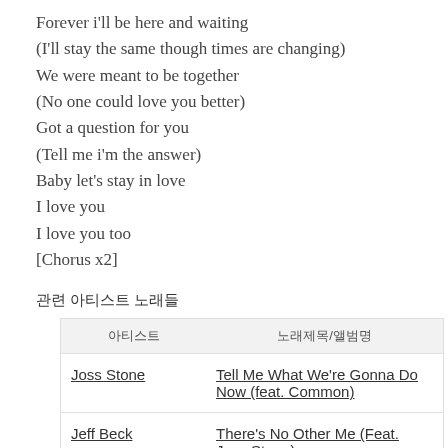Forever i'll be here and waiting
(I'll stay the same though times are changing)
We were meant to be together
(No one could love you better)
Got a question for you
(Tell me i'm the answer)
Baby let's stay in love
I love you
I love you too
[Chorus x2]
관련 아티스트 노래들
| 아티스트 | 노래제목/앨범명 |
| --- | --- |
| Joss Stone | Tell Me What We're Gonna Do Now (feat. Common) |
| Jeff Beck | There's No Other Me (Feat. Joss Stone) |
| Joss Stone | Tell Me What We're Gonna Do Now |